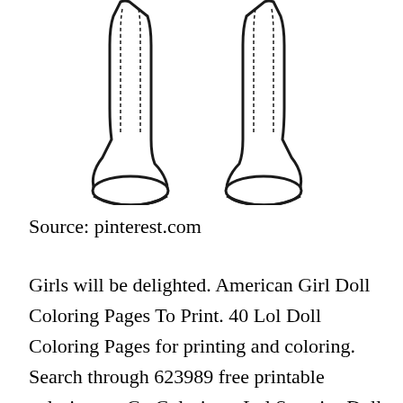[Figure (illustration): Line drawing illustration of a pair of shoes (sneakers/boots) viewed from the front, black outline on white background, coloring page style]
Source: pinterest.com
Girls will be delighted. American Girl Doll Coloring Pages To Print. 40 Lol Doll Coloring Pages for printing and coloring. Search through 623989 free printable colorings at GetColorings. Lol Surprise Dolls Coloring Pages Print Them For Free